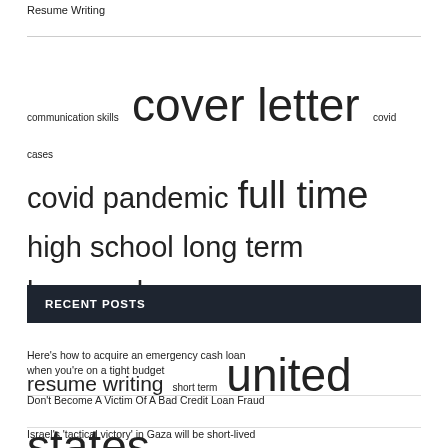Resume Writing
[Figure (infographic): Tag cloud with terms of varying sizes: communication skills (small), cover letter (very large), covid cases (small), covid pandemic (medium-large), full time (large), high school (large), long term (large), los angeles (medium-large), press release (small), public health (small), real estate (medium), resume writing (medium), short term (small), united states (very large), work experience (small)]
RECENT POSTS
Here's how to acquire an emergency cash loan when you're on a tight budget
Don't Become A Victim Of A Bad Credit Loan Fraud
Israel's 'tactical victory' in Gaza will be short-lived